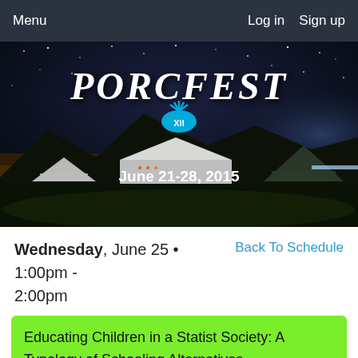Menu   Log in   Sign up
[Figure (photo): PorcFest XII festival banner photo with night sky, mountains, tents, and text: PORCFEST XII June 21-28, 2015]
Wednesday, June 25 • 1:00pm - 2:00pm
Back To Schedule
Educating Children in a Statist Society: A Typology of Schooling Alternatives